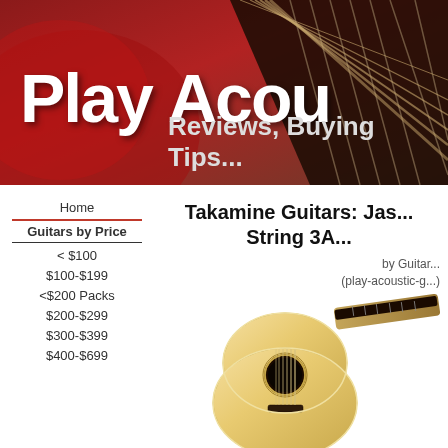[Figure (photo): Banner image showing a guitar fretboard on red background with white bold text 'Play Acou' and subtitle 'Reviews, Buying Tips']
Home
Guitars by Price
< $100
$100-$199
<$200 Packs
$200-$299
$300-$399
$400-$699
Takamine Guitars: Jas... String 3A...
by Guitar... (play-acoustic-g...)
[Figure (photo): Acoustic classical guitar with natural spruce top and dark fretboard, shown at an angle]